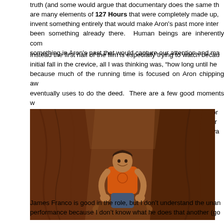truth (and some would argue that documentary does the same thing). There are many elements of 127 Hours that were completely made up, and rather than invent something entirely that would make Aron's past more interesting, there has been something already there. Human beings are inherently complex; there was something in Aron's past that would capture our attention and ma...
Instead the first half of the film is especially trying to watch because after the initial fall in the crevice, all I was thinking was, "how long until he cuts his arm" because much of the running time is focused on Aron chipping away at the rock he eventually uses to do the deed. There are a few good moments via the digital camcorder he brought with him (the best moment in the film is pro... I didn't like the fake "escape" sequence. If you have to pad your runtime with a minute long scene that didn't actually happen, then you might wa... structure your film.
[Figure (photo): A man in an orange t-shirt smiling while wedged in a narrow rock canyon/crevice. The canyon walls are reddish-brown sandstone. This appears to be a still from the film 127 Hours.]
James Franco is good in the role, but I don't understand the unan... performance because I don't know what he does that another (go...